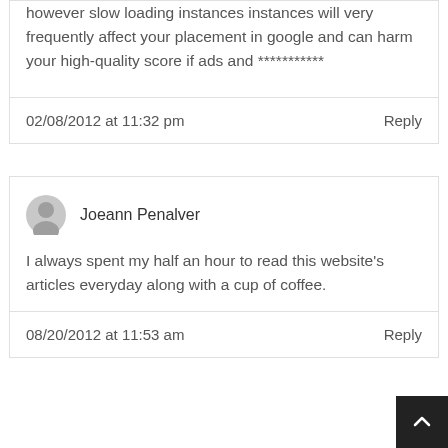however slow loading instances instances will very frequently affect your placement in google and can harm your high-quality score if ads and ***********
02/08/2012 at 11:32 pm
Reply
Joeann Penalver
I always spent my half an hour to read this website's articles everyday along with a cup of coffee.
08/20/2012 at 11:53 am
Reply